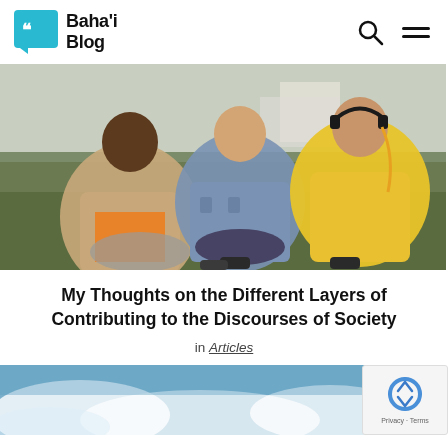Baha'i Blog
[Figure (photo): Three young people sitting on grass outdoors having a conversation. One wears an orange top with a beige jacket, one wears a denim jacket, and one wears a yellow hoodie with headphones around their neck.]
My Thoughts on the Different Layers of Contributing to the Discourses of Society
in Articles
[Figure (photo): Blue sky with clouds, partial view at bottom of page.]